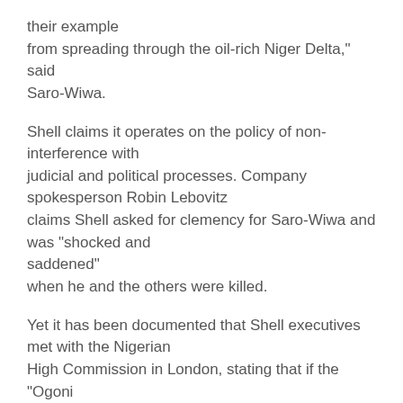their example from spreading through the oil-rich Niger Delta," said Saro-Wiwa.
Shell claims it operates on the policy of non-interference with judicial and political processes. Company spokesperson Robin Lebovitz claims Shell asked for clemency for Saro-Wiwa and was "shocked and saddened" when he and the others were killed.
Yet it has been documented that Shell executives met with the Nigerian High Commission in London, stating that if the "Ogoni virus" spreads to